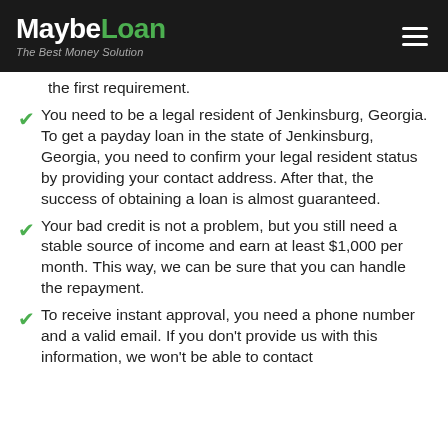MaybeLoan — The Best Money Solution
the first requirement.
You need to be a legal resident of Jenkinsburg, Georgia. To get a payday loan in the state of Jenkinsburg, Georgia, you need to confirm your legal resident status by providing your contact address. After that, the success of obtaining a loan is almost guaranteed.
Your bad credit is not a problem, but you still need a stable source of income and earn at least $1,000 per month. This way, we can be sure that you can handle the repayment.
To receive instant approval, you need a phone number and a valid email. If you don't provide us with this information, we won't be able to contact you.